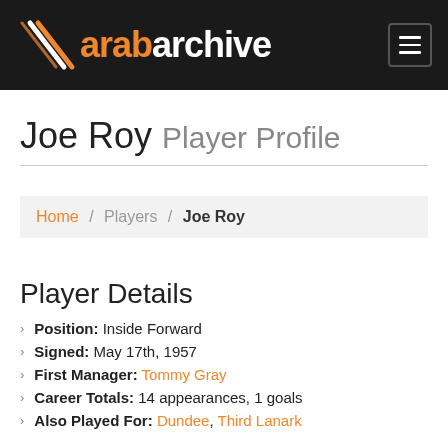arabarchive
Joe Roy Player Profile
Home / Players / Joe Roy
Player Details
Position: Inside Forward
Signed: May 17th, 1957
First Manager: Tommy Gray
Career Totals: 14 appearances, 1 goals
Also Played For: Dundee, Third Lanark